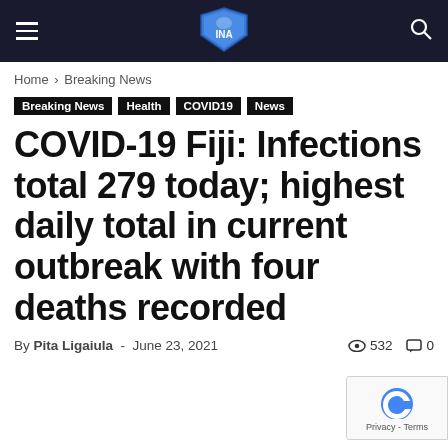INA (logo navigation bar)
Home > Breaking News
Breaking News
Health
COVID19
News
COVID-19 Fiji: Infections total 279 today; highest daily total in current outbreak with four deaths recorded
By Pita Ligaiula - June 23, 2021  532  0